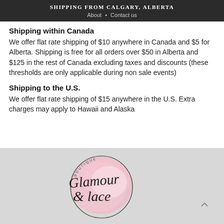SHIPPING FROM CALGARY, ALBERTA
About • Contact us
Shipping within Canada
We offer flat rate shipping of $10 anywhere in Canada and $5 for Alberta. Shipping is free for all orders over $50 in Alberta and $125 in the rest of Canada excluding taxes and discounts (these thresholds are only applicable during non sale events)
Shipping to the U.S.
We offer flat rate shipping of $15 anywhere in the U.S. Extra charges may apply to Hawaii and Alaska
[Figure (logo): Glamour & Lace Boutique logo on a light gray background — cursive script text with a pink watercolor splash and circular border]